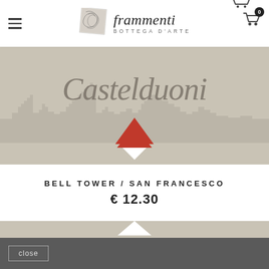[Figure (logo): Frammenti Bottega d'Arte logo with decorative square image and stylized script text]
[Figure (illustration): Castelduoni city skyline artwork on beige background with large cursive text and a red triangular arrow pointing down]
BELL TOWER / SAN FRANCESCO
€ 12.30
[Figure (illustration): Second artwork card on beige background with gold/tan triangular arrow]
close